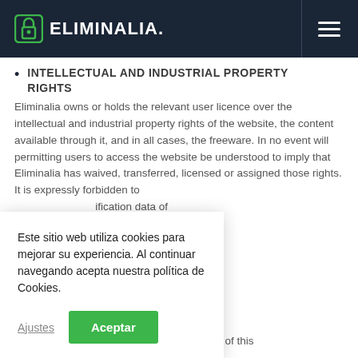ELIMINALIA.
INTELLECTUAL AND INDUSTRIAL PROPERTY RIGHTS
Eliminalia owns or holds the relevant user licence over the intellectual and industrial property rights of the website, the content available through it, and in all cases, the freeware. In no event will permitting users to access the website be understood to imply that Eliminalia has waived, transferred, licensed or assigned those rights. It is expressly forbidden to [delete/hide...] ...ification data of ...te or the holders ...ete, hide or ...s, digital ...r identification ...tent. It is also ...produce, publicly ...transfer, use, process or distribute in any way the content of this
Este sitio web utiliza cookies para mejorar su experiencia. Al continuar navegando acepta nuestra política de Cookies.